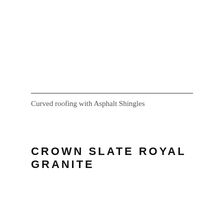Curved roofing with Asphalt Shingles
CROWN SLATE ROYAL GRANITE